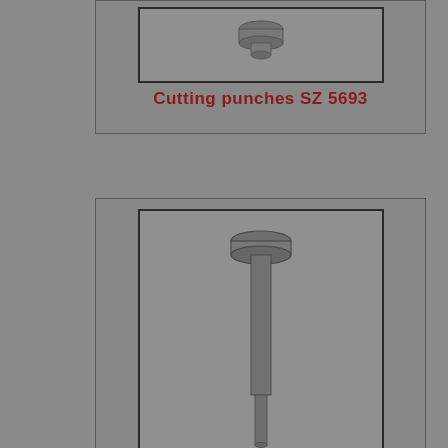[Figure (illustration): Cutting punch tool SZ 5693 - a short cylindrical cutting punch shown from above/side, partially visible at top of page]
Cutting punches SZ 5693
[Figure (illustration): Cutting punch tool SZ 6121 - a long slender punch with a wide flat head/cap at the top and a thin cylindrical shaft, shown vertically]
Cutting punches SZ 6121
[Figure (illustration): Cutting punch tools SZ 6124 and SZ 6129 shown partially - thin long punch with text labels SZ 6124 and SZ 6129]